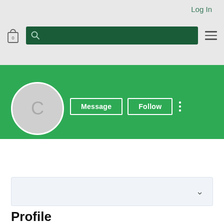Log In
[Figure (screenshot): Search toolbar with bag icon, dark green search bar with magnifying glass, and hamburger menu icon]
[Figure (screenshot): Green banner profile cover with Message and Follow buttons and avatar circle with letter C]
Colusa casino taste of ho...
0 Followers • 0 Following
[Figure (screenshot): Dropdown collapsed box with chevron]
Profile